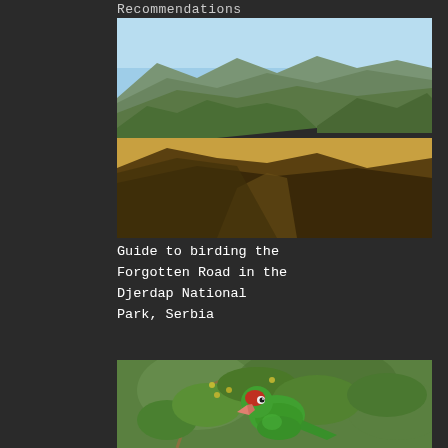Recommendations
[Figure (photo): Landscape photo of rolling hills covered with green forest and golden meadows under a clear blue sky, taken from an elevated vantage point. A dirt path is visible in the foreground.]
Guide to birding the Forgotten Road in the Djerdap National Park, Serbia
[Figure (photo): Close-up photo of a green parrot with a red head/beak perched on branches with green leaves and small buds.]